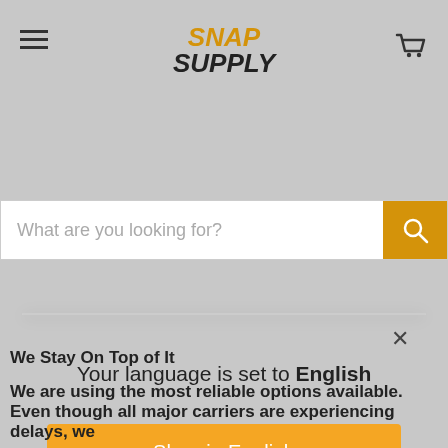[Figure (logo): Snap Supply logo with hamburger menu and cart icon in header]
[Figure (screenshot): Search bar with placeholder text 'What are you looking for?' and orange search button]
[Figure (infographic): Modal dialog: 'Your language is set to English' with 'Shop in English' button and 'Change language' link]
We Stay On Top of It
We are using the most reliable options available. Even though all major carriers are experiencing delays, we